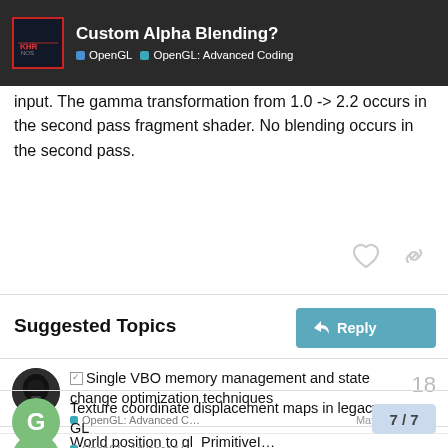Custom Alpha Blending? | OpenGL | OpenGL: Advanced Coding
input. The gamma transformation from 1.0 -> 2.2 occurs in the second pass fragment shader. No blending occurs in the second pass.
Suggested Topics
☑ Single VBO memory management and state change optimization techniques
OpenGL: Advanced C…
May 26
18
Texture coordinate displacement maps in legacy GL
OpenGL: Advanced C…
1
World position to gl_PrimitiveI…